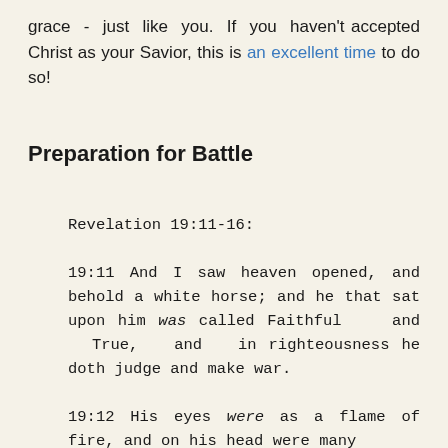grace - just like you. If you haven't accepted Christ as your Savior, this is an excellent time to do so!
Preparation for Battle
Revelation 19:11-16:
19:11 And I saw heaven opened, and behold a white horse; and he that sat upon him was called Faithful and True, and in righteousness he doth judge and make war.
19:12 His eyes were as a flame of fire, and on his head were many